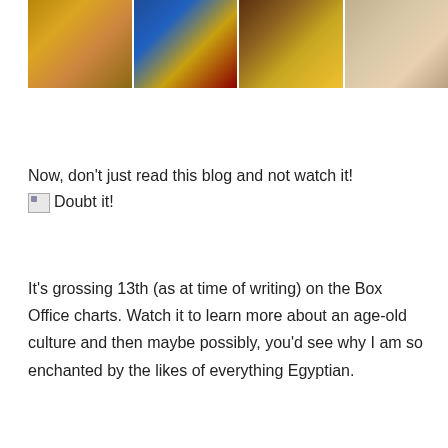[Figure (photo): A horizontal strip of four movie promotional images showing Egyptian-themed characters in costume, cropped to show torsos and accessories.]
Now, don't just read this blog and not watch it!
[Figure (other): Broken image placeholder labeled 'Doubt it!']
It's grossing 13th (as at time of writing) on the Box Office charts. Watch it to learn more about an age-old culture and then maybe possibly, you'd see why I am so enchanted by the likes of everything Egyptian.